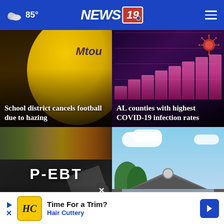85° NEWS 19
[Figure (photo): School football helmet with yellow/gold color. Headline: School district cancels football due to hazing]
[Figure (photo): COVID-19 bar chart visualization with virus particle illustration on dark purple background. Headline: AL counties with highest COVID-19 infection rates]
[Figure (photo): P-EBT sign on dark background with food items. Headline: Sur... (partially visible)]
[Figure (photo): House rooftop against blue sky with clouds. Partially covered by ad banner.]
Time For a Trim? Hair Cuttery